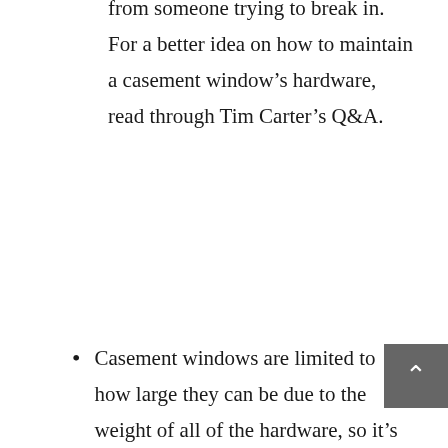would make the windows less secure from someone trying to break in. For a better idea on how to maintain a casement window's hardware, read through Tim Carter's Q&A.
Casement windows are limited to how large they can be due to the weight of all of the hardware, so it's important to give measurements to your contractor before making a decision. Do you know your window measurements? Check out this helpful guide to getting accurate measurements when replacing your windows.